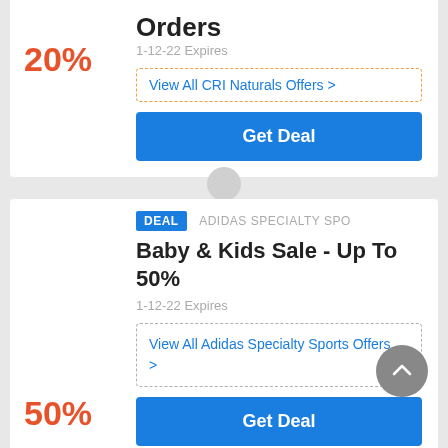Orders
20%
1-12-22 Expires
View All CRI Naturals Offers >
Get Deal
DEAL  ADIDAS SPECIALTY SPO
Baby & Kids Sale - Up To 50%
50%
1-12-22 Expires
View All Adidas Specialty Sports Offers >
Get Deal